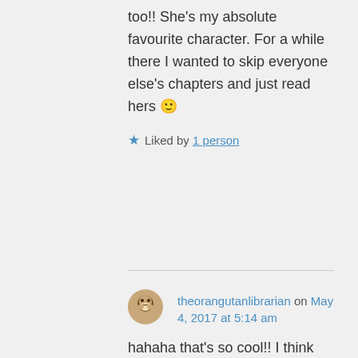too!! She's my absolute favourite character. For a while there I wanted to skip everyone else's chapters and just read hers 🙂
Liked by 1 person
theorangutanlibrarian on May 4, 2017 at 5:14 am
hahaha that's so cool!! I think the most I ever did to achieve this ambition was keep a diary like Harriet the Spy and tell everyone I know